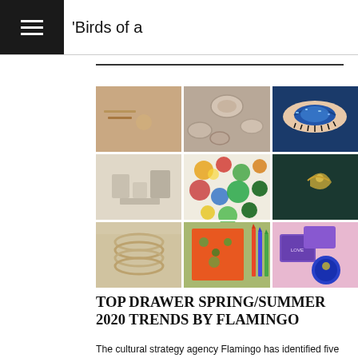'Birds of a
[Figure (photo): 3x3 grid of fashion and lifestyle images including jewelry, ceramics/bowls, blue glittery eye makeup, geometric blocks, colorful circles/patterns, a brooch on dark fabric, stacked rings, orange book/stationery with pencils, and purple/blue cosmetic boxes]
TOP DRAWER SPRING/SUMMER 2020 TRENDS BY FLAMINGO
The cultural strategy agency Flamingo has identified five key trends ahead of the Spring/Summer 2020 edition of the Top Drawer show using their trend forecasting methodology, which involves continuous analysis of the macro shifts that are driving large-scale cultural change.